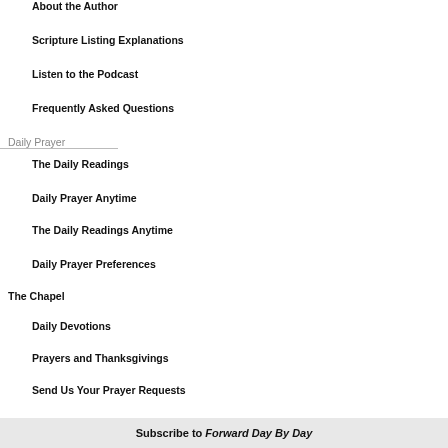About the Author
Scripture Listing Explanations
Listen to the Podcast
Frequently Asked Questions
Daily Prayer
The Daily Readings
Daily Prayer Anytime
The Daily Readings Anytime
Daily Prayer Preferences
The Chapel
Daily Devotions
Prayers and Thanksgivings
Send Us Your Prayer Requests
The Liturgical Calendar
About Us
Subscribe to Forward Day By Day